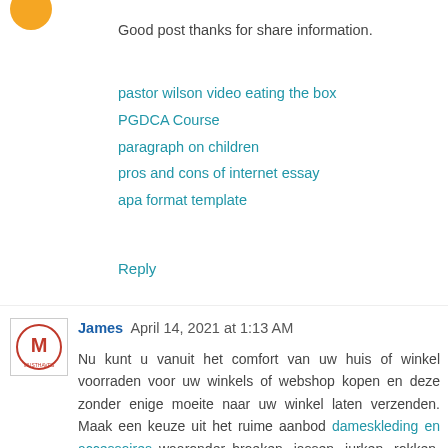[Figure (illustration): Orange avatar circle at top left, partially cropped]
Good post thanks for share information.
pastor wilson video eating the box
PGDCA Course
paragraph on children
pros and cons of internet essay
apa format template
Reply
[Figure (logo): Small logo/avatar for James comment]
James  April 14, 2021 at 1:13 AM
Nu kunt u vanuit het comfort van uw huis of winkel voorraden voor uw winkels of webshop kopen en deze zonder enige moeite naar uw winkel laten verzenden. Maak een keuze uit het ruime aanbod dameskleding en accessoires waaronder broeken, jassen, jurken, rokken, blazers, jeans, tunieken, tops en sweaters, etc. Bij Musthaves By Elja zijn wij een gespecialiseerde groothandel dameskloding in Nederland.